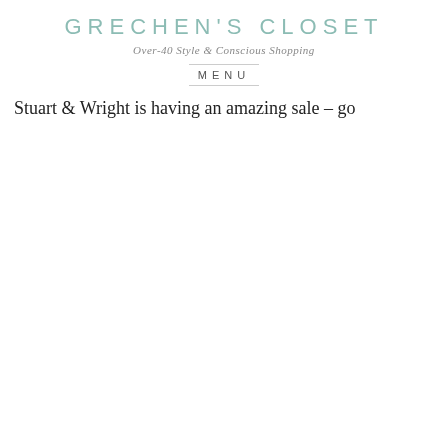GRECHEN'S CLOSET
Over-40 Style & Conscious Shopping
MENU
[Figure (photo): Front view of two brown woven leather sandals with wooden platform soles, placed on a rustic wooden tree stump slice against a light grey/white background]
Stuart & Wright is having an amazing sale – go